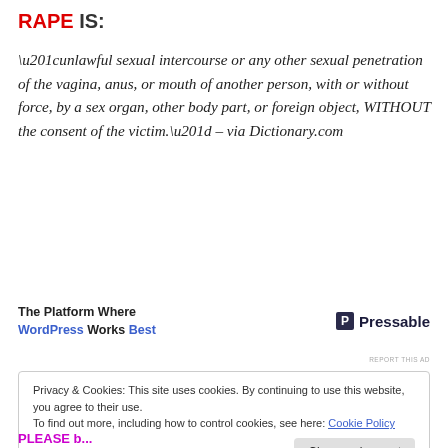RAPE IS:
“unlawful sexual intercourse or any other sexual penetration of the vagina, anus, or mouth of another person, with or without force, by a sex organ, other body part, or foreign object, WITHOUT the consent of the victim.” – via Dictionary.com
[Figure (other): Advertisement banner: 'The Platform Where WordPress Works Best' with Pressable logo]
REPORT THIS AD
Privacy & Cookies: This site uses cookies. By continuing to use this website, you agree to their use.
To find out more, including how to control cookies, see here: Cookie Policy
Close and accept
PLEASE b...